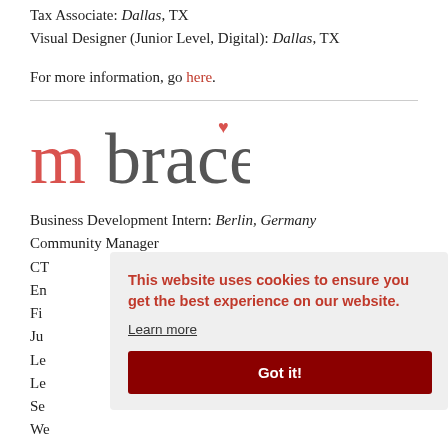Tax Associate: Dallas, TX
Visual Designer (Junior Level, Digital): Dallas, TX
For more information, go here.
[Figure (logo): mbrace logo with pink/red 'm' and grey 'brace' text and a small heart above the 'e']
Business Development Intern: Berlin, Germany
Community Manager
CT...
En...
Fi...
Ju...
Le...
Le...
Se...
We...
This website uses cookies to ensure you get the best experience on our website. Learn more Got it!